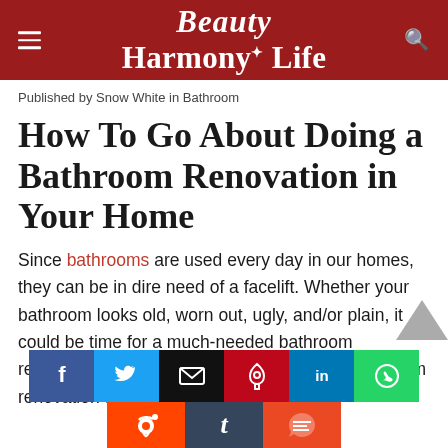Beauty Harmony Life
Published by Snow White in Bathroom
How To Go About Doing a Bathroom Renovation in Your Home
Since bathrooms are used every day in our homes, they can be in dire need of a facelift. Whether your bathroom looks old, worn out, ugly, and/or plain, it could be time for a much-needed bathroom renovation. If you're thinking about doing a bathroom renovation and are